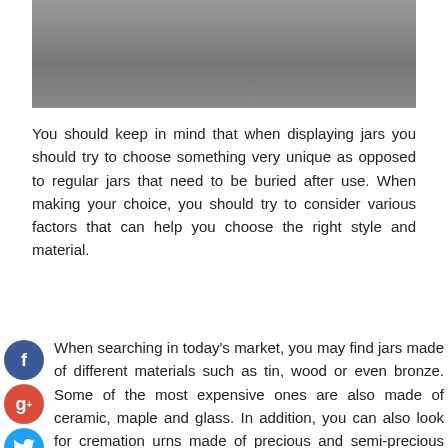[Figure (photo): Dark gray/black photograph at top of page, partially visible]
You should keep in mind that when displaying jars you should try to choose something very unique as opposed to regular jars that need to be buried after use. When making your choice, you should try to consider various factors that can help you choose the right style and material.
[Figure (infographic): Social media sharing icons: Facebook (blue circle with f), Google+ (red circle with g+), Twitter (blue circle with bird), Add (dark blue circle with +)]
When searching in today's market, you may find jars made of different materials such as tin, wood or even bronze. Some of the most expensive ones are also made of ceramic, maple and glass. In addition, you can also look for cremation urns made of precious and semi-precious stones. Many people around the world also like the special jars that are made from different types of pots. When you decide on a customized urn, you can definitely decorate it with different types of jewellery and stones.